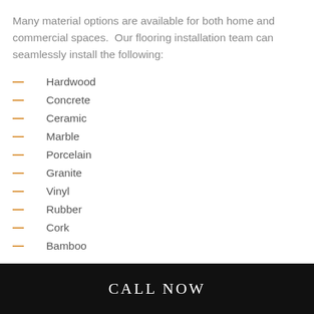Many material options are available for both home and commercial spaces. Our flooring installation team can seamlessly install the following:
Hardwood
Concrete
Ceramic
Marble
Porcelain
Granite
Vinyl
Rubber
Cork
Bamboo
CALL NOW